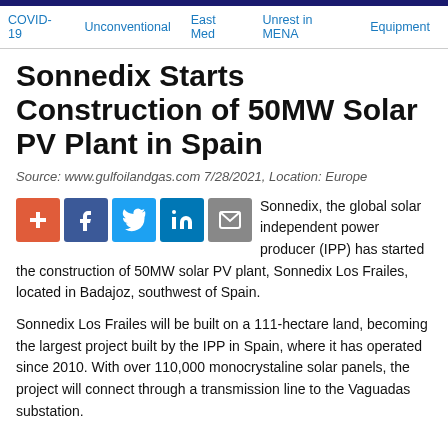COVID-19  Unconventional  East Med  Unrest in MENA  Equipment
Sonnedix Starts Construction of 50MW Solar PV Plant in Spain
Source: www.gulfoilandgas.com 7/28/2021, Location: Europe
Sonnedix, the global solar independent power producer (IPP) has started the construction of 50MW solar PV plant, Sonnedix Los Frailes, located in Badajoz, southwest of Spain.
Sonnedix Los Frailes will be built on a 111-hectare land, becoming the largest project built by the IPP in Spain, where it has operated since 2010. With over 110,000 monocrystaline solar panels, the project will connect through a transmission line to the Vaguadas substation.